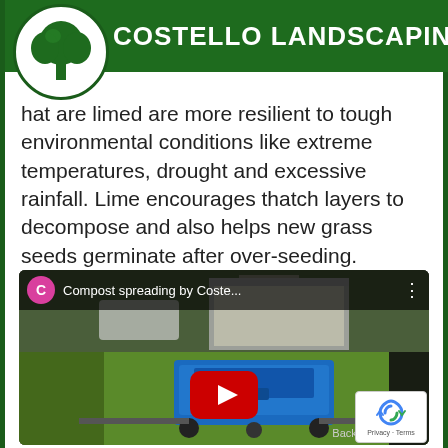COSTELLO LANDSCAPING, LL
hat are limed are more resilient to tough environmental conditions like extreme temperatures, drought and excessive rainfall. Lime encourages thatch layers to decompose and also helps new grass seeds germinate after over-seeding.
[Figure (screenshot): YouTube video thumbnail showing a blue compost spreader machine on a lawn with a garage in the background. Video title reads 'Compost spreading by Coste...' with a channel avatar showing letter C in pink, a three-dot menu icon, and a red YouTube play button in the center. A reCAPTCHA badge and 'Back to' text are visible at the bottom right.]